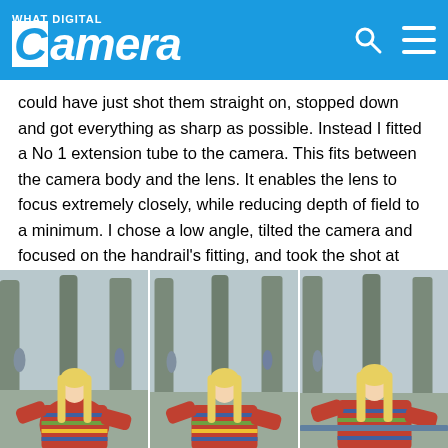What Digital Camera
could have just shot them straight on, stopped down and got everything as sharp as possible. Instead I fitted a No 1 extension tube to the camera. This fits between the camera body and the lens. It enables the lens to focus extremely closely, while reducing depth of field to a minimum. I chose a low angle, tilted the camera and focused on the handrail's fitting, and took the shot at f/2.8. The focus is now firmly on the fitting – the main object – while the perforated metal balustrade falls out of focus quite quickly. This makes the shot far more interesting and draws our eye to the most important part.
[Figure (photo): Three photos side by side of a blonde woman in a colorful striped sweater posing outdoors in a tree-lined setting]